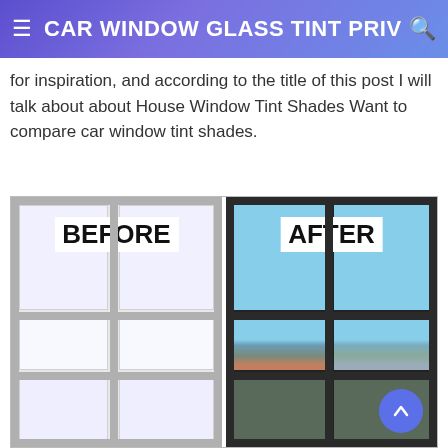CAR WINDOW GLASS TINT PRIV
for inspiration, and according to the title of this post I will talk about about House Window Tint Shades Want to compare car window tint shades.
[Figure (photo): Before and after comparison of window tint installation on house windows. Left panel (BEFORE) shows white/frosted untinted windows with gray frames. Right panel (AFTER) shows dark-framed windows with visible view of lake, trees, and outdoor scene through tinted glass.]